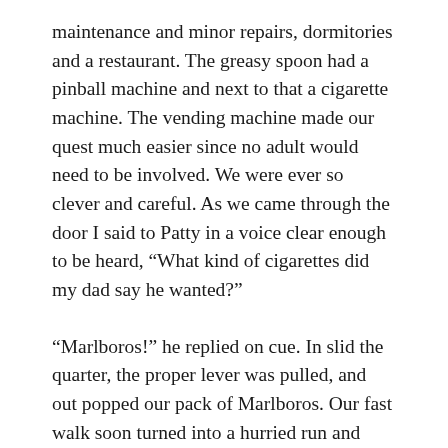maintenance and minor repairs, dormitories and a restaurant. The greasy spoon had a pinball machine and next to that a cigarette machine. The vending machine made our quest much easier since no adult would need to be involved. We were ever so clever and careful. As we came through the door I said to Patty in a voice clear enough to be heard, “What kind of cigarettes did my dad say he wanted?”
“Marlboros!” he replied on cue. In slid the quarter, the proper lever was pulled, and out popped our pack of Marlboros. Our fast walk soon turned into a hurried run and soon we were back to the outfield, worthy earners of the reward to follow. I don’t recall how the matches were obtained but soon we were puffing away and pretending to like it, far enough away from parents, neb noses and tattletales. Dicky